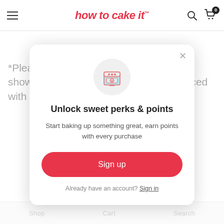how to cake it
*Please Note: Butter Vanilla Emulsion shown has sold out and has been replaced with it's delicious
[Figure (screenshot): Modal dialog with oven icon, title 'Unlock sweet perks & points', description text, Sign up button, and Sign in link]
Shop   Cart   Search